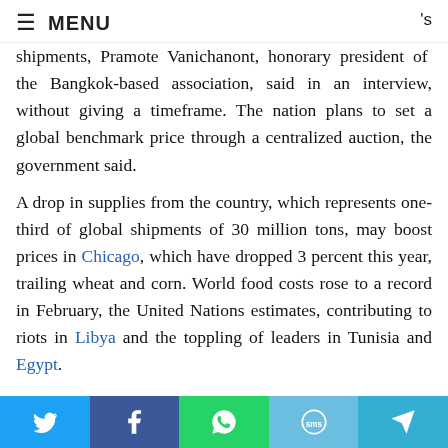≡ MENU
shipments, Pramote Vanichanont, honorary president of the Bangkok-based association, said in an interview, without giving a timeframe. The nation plans to set a global benchmark price through a centralized auction, the government said.
A drop in supplies from the country, which represents one-third of global shipments of 30 million tons, may boost prices in Chicago, which have dropped 3 percent this year, trailing wheat and corn. World food costs rose to a record in February, the United Nations estimates, contributing to riots in Libya and the toppling of leaders in Tunisia and Egypt.
“I doubt whether it is a good policy, as cutting the supply may lead to food shortages,” Kiattisak Kanlayasirivat, a director at the Thai office of Novel Commodities SA, which trades about $600 million of rice a year. “By reducing the supply, this will bring up prices.”
Social share bar: Twitter, Facebook, WhatsApp, SMS, Telegram